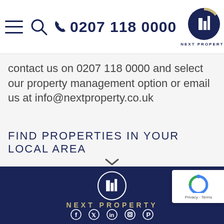0207 118 0000 | Next Property logo
contact us on 0207 118 0000 and select our property management option or email us at info@nextproperty.co.uk
FIND PROPERTIES IN YOUR LOCAL AREA
[Figure (logo): Next Property logo white on dark blue circle with buildings icon, with NEXT PROPERTY text and social media icons (Facebook, Twitter, LinkedIn, Instagram, Pinterest)]